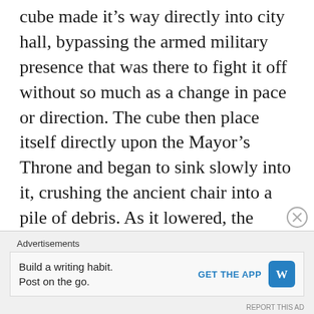cube made it's way directly into city hall, bypassing the armed military presence that was there to fight it off without so much as a change in pace or direction. The cube then place itself directly upon the Mayor's Throne and began to sink slowly into it, crushing the ancient chair into a pile of debris. As it lowered, the gravity in the city began to come undone.
Advertisements
Build a writing habit. Post on the go. GET THE APP